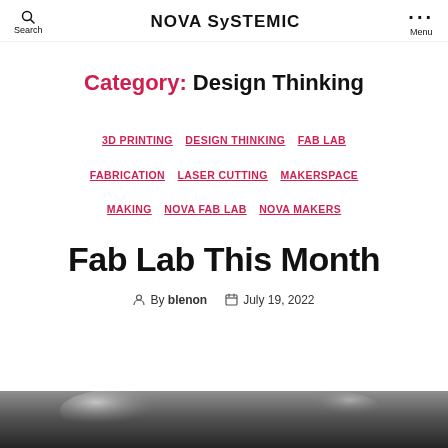Search | NOVA SySTEMIC | Menu
Category: Design Thinking
3D PRINTING  DESIGN THINKING  FAB LAB  FABRICATION  LASER CUTTING  MAKERSPACE  MAKING  NOVA FAB LAB  NOVA MAKERS
Fab Lab This Month
By blenon  July 19, 2022
[Figure (photo): Bottom strip of a photograph, partially cropped, appearing dark with some light reflections.]